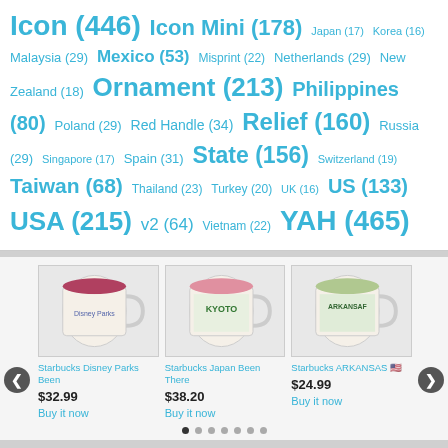Icon (446) Icon Mini (178) Japan (17) Korea (16) Malaysia (29) Mexico (53) Misprint (22) Netherlands (29) New Zealand (18) Ornament (213) Philippines (80) Poland (29) Red Handle (34) Relief (160) Russia (29) Singapore (17) Spain (31) State (156) Switzerland (19) Taiwan (68) Thailand (23) Turkey (20) UK (16) US (133) USA (215) v2 (64) Vietnam (22) YAH (465)
[Figure (photo): Starbucks Disney Parks Been There mug]
Starbucks Disney Parks Been
$32.99
Buy it now
[Figure (photo): Starbucks Japan Been There mug with KYOTO text]
Starbucks Japan Been There
$38.20
Buy it now
[Figure (photo): Starbucks Arkansas Been There mug with US flag emoji]
Starbucks ARKANSAS 🇺🇸
$24.99
Buy it now